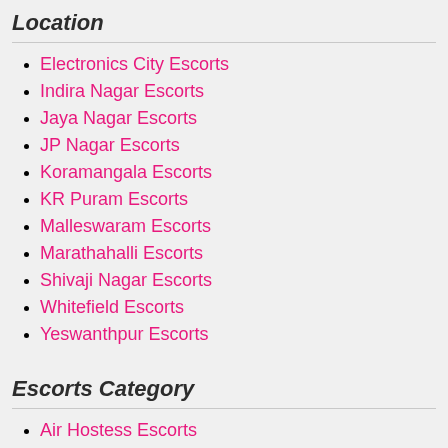Location
Electronics City Escorts
Indira Nagar Escorts
Jaya Nagar Escorts
JP Nagar Escorts
Koramangala Escorts
KR Puram Escorts
Malleswaram Escorts
Marathahalli Escorts
Shivaji Nagar Escorts
Whitefield Escorts
Yeswanthpur Escorts
Escorts Category
Air Hostess Escorts